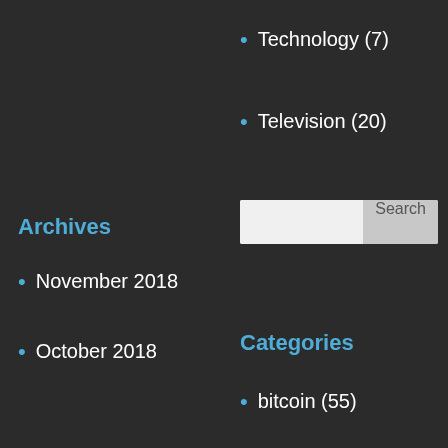Technology (7)
Television (20)
Archives
November 2018
October 2018
Categories
bitcoin (55)
Celebrities (23)
Comedy (4)
Comic (27)
crypto mining (82)
Entertainment (4)